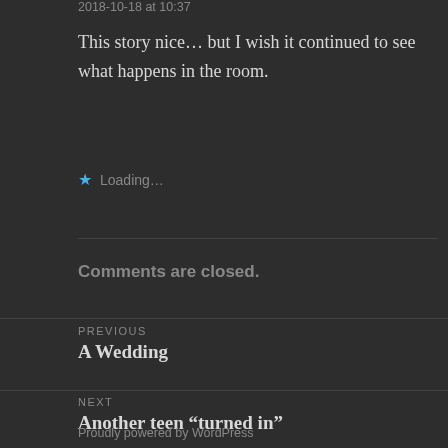2018-10-18 at 10:37
This story nice… but I wish it continued to see what happens in the room.
★ Loading…
Comments are closed.
PREVIOUS
A Wedding
NEXT
Another teen “turned in”
Proudly powered by WordPress